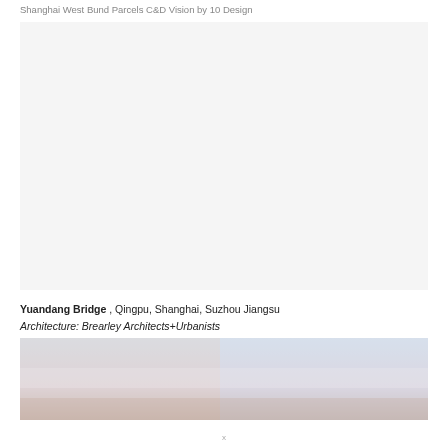Shanghai West Bund Parcels C&D Vision by 10 Design
[Figure (photo): Large architectural or urban design rendering — blank/white image placeholder representing Shanghai West Bund Parcels C&D Vision]
Yuandang Bridge , Qingpu, Shanghai, Suzhou Jiangsu
Architecture: Brearley Architects+Urbanists
[Figure (photo): Panoramic photo of Yuandang Bridge with soft sky gradient — pale blue and pink tones, bridge structure faintly visible at bottom left]
x